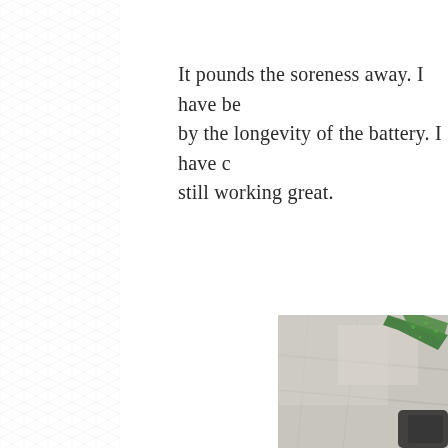It pounds the soreness away. I have be... by the longevity of the battery. I have c... still working great.
[Figure (photo): A partial photo showing a green plant (possibly aloe vera) on a light gray/concrete surface, with a dark object partially visible at the bottom right.]